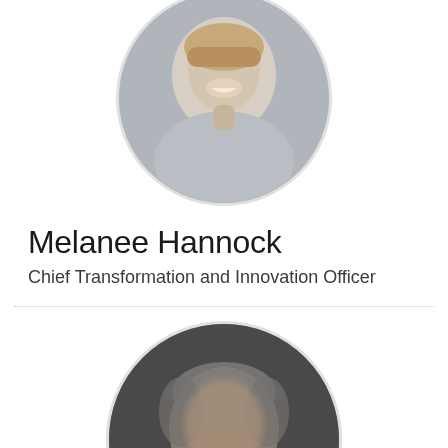[Figure (photo): Circular profile photo of a woman (Melanee Hannock) smiling, with blonde hair pulled back, wearing a light gray blazer, against a gray background.]
Melanee Hannock
Chief Transformation and Innovation Officer
[Figure (photo): Circular profile photo of a man with gray hair, blurred, against a dark background.]